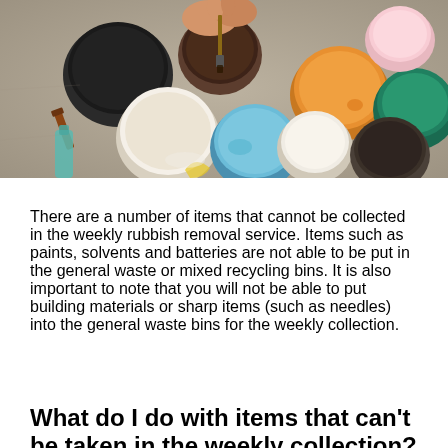[Figure (photo): Overhead view of multiple open paint buckets and containers in various colors including black, brown, white, blue, orange, teal/green, and pink, with hands holding a brush over them on a concrete surface.]
There are a number of items that cannot be collected in the weekly rubbish removal service. Items such as paints, solvents and batteries are not able to be put in the general waste or mixed recycling bins. It is also important to note that you will not be able to put building materials or sharp items (such as needles) into the general waste bins for the weekly collection.
What do I do with items that can't be taken in the weekly collection?